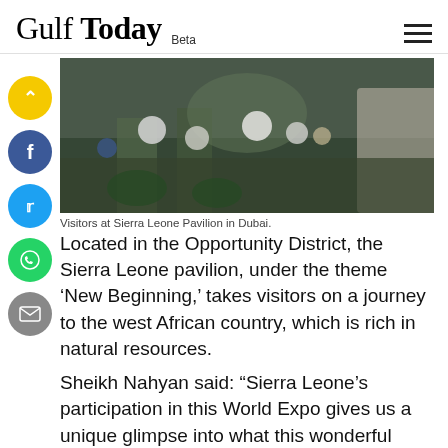Gulf Today Beta
[Figure (photo): Visitors at Sierra Leone Pavilion in Dubai. People in white traditional attire and colorful costumes gathered at an outdoor pavilion area.]
Visitors at Sierra Leone Pavilion in Dubai.
Located in the Opportunity District, the Sierra Leone pavilion, under the theme ‘New Beginning,’ takes visitors on a journey to the west African country, which is rich in natural resources.
Sheikh Nahyan said: “Sierra Leone’s participation in this World Expo gives us a unique glimpse into what this wonderful country